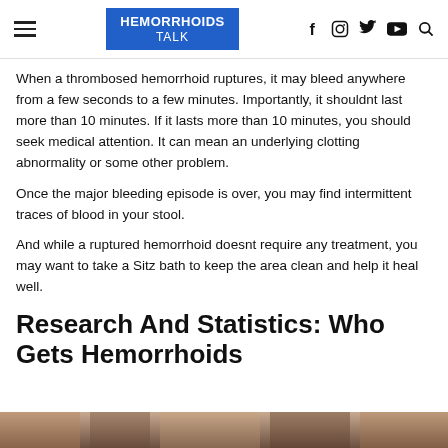HEMORRHOIDS TALK
When a thrombosed hemorrhoid ruptures, it may bleed anywhere from a few seconds to a few minutes. Importantly, it shouldnt last more than 10 minutes. If it lasts more than 10 minutes, you should seek medical attention. It can mean an underlying clotting abnormality or some other problem.
Once the major bleeding episode is over, you may find intermittent traces of blood in your stool.
And while a ruptured hemorrhoid doesnt require any treatment, you may want to take a Sitz bath to keep the area clean and help it heal well.
Research And Statistics: Who Gets Hemorrhoids
[Figure (photo): Bottom strip of a photo, partially visible at the bottom of the page]